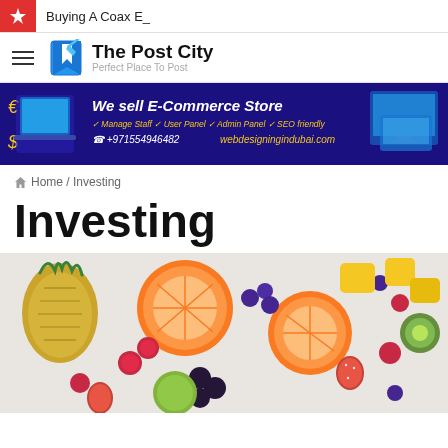Buying A Coax E_
[Figure (logo): The Post City logo - blue bookmark icon with 'The Post City' in bold and 'Perfect Place To Post' subtitle]
[Figure (infographic): Advertisement banner: 'We sell E-Commerce Store' with text 'Manage Staff / User Panel / Admin Panel / SEO friendly' and contact '+971554946482 webdesigningindubai.com']
Home / Investing
Investing
[Figure (photo): A colorful arrangement of tropical and mixed fruits including pineapple, oranges, raspberries, blueberries, strawberries, blackberries, kiwi, and mango on a light background]